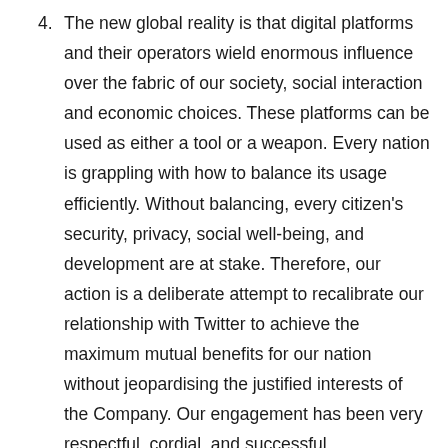4. The new global reality is that digital platforms and their operators wield enormous influence over the fabric of our society, social interaction and economic choices. These platforms can be used as either a tool or a weapon. Every nation is grappling with how to balance its usage efficiently. Without balancing, every citizen's security, privacy, social well-being, and development are at stake. Therefore, our action is a deliberate attempt to recalibrate our relationship with Twitter to achieve the maximum mutual benefits for our nation without jeopardising the justified interests of the Company. Our engagement has been very respectful, cordial, and successful.
5. The process of resolving this impasse between the FGN and Twitter Inc. has helped lay a foundation for a mutually beneficial future with endless possibilities. Twitter is a platform of choice for many Nigerians ranging from young innovators to public sector officials who find it helpful to...